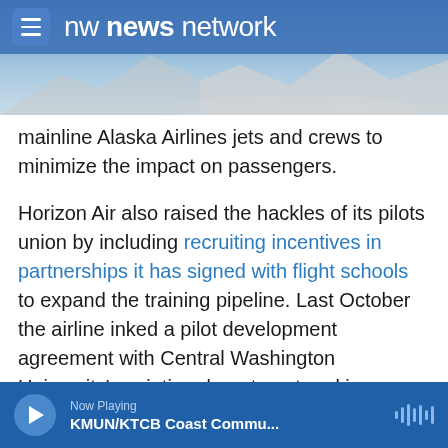nw news network
mainline Alaska Airlines jets and crews to minimize the impact on passengers.
Horizon Air also raised the hackles of its pilots union by including recruiting incentives in partnerships it has signed with flight schools to expand the training pipeline. Last October the airline inked a pilot development agreement with Central Washington University's aviation department and in December it offered similar terms to aspiring pilots at Hillsboro Aero Academy in suburban Portland.
Eligible aviation students on track to earn their
Now Playing KMUN/KTCB Coast Commu...